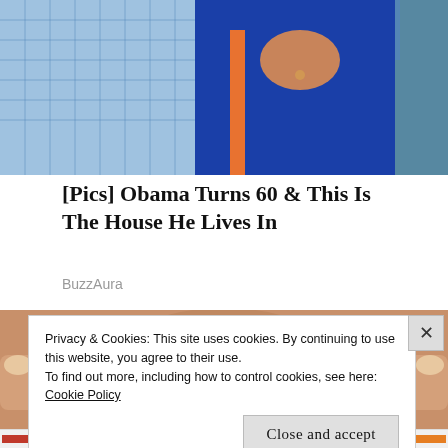[Figure (photo): Partial photo showing two people outdoors — a man in a light blue checked shirt on the left and a woman in a blue dress with orange strap on the right, with green trees in background]
[Pics] Obama Turns 60 & This Is The House He Lives In
BuzzAura
[Figure (photo): Close-up photo of a person's nose and lips, fingers visible near chin area]
Privacy & Cookies: This site uses cookies. By continuing to use this website, you agree to their use.
To find out more, including how to control cookies, see here:
Cookie Policy
Close and accept